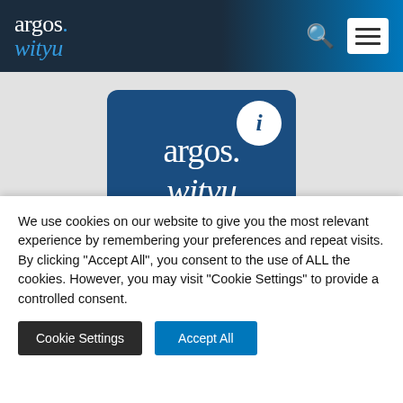[Figure (logo): Argos Wityu navigation header logo with white 'argos.' text and blue italic 'wityu' text, search icon, and hamburger menu button on dark-to-blue gradient background]
[Figure (logo): Argos Wityu logo card: dark blue rounded rectangle with large white serif 'argos.' and italic 'wityu' text, white circle with italic 'i' in top right corner]
Mid-market Argos Index® 2nd
We use cookies on our website to give you the most relevant experience by remembering your preferences and repeat visits. By clicking "Accept All", you consent to the use of ALL the cookies. However, you may visit "Cookie Settings" to provide a controlled consent.
Cookie Settings
Accept All